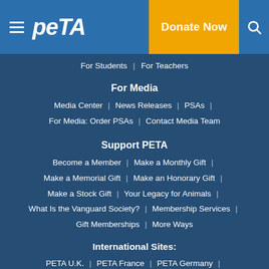PETA — Donate Now — Search
For Students | For Teachers
For Media
Media Center | News Releases | PSAs | For Media: Order PSAs | Contact Media Team
Support PETA
Become a Member | Make a Monthly Gift | Make a Memorial Gift | Make an Honorary Gift | Make a Stock Gift | Your Legacy for Animals | What Is the Vanguard Society? | Membership Services | Gift Memberships | More Ways
International Sites:
PETA U.K. | PETA France | PETA Germany | PETA Netherlands | PETA Switzerland | PETA India | PETA Australia | PETA Asia | [Asian script] | PETA Latino